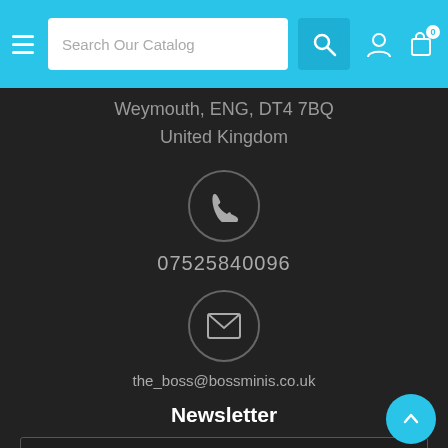Search Our Catalog
Weymouth, ENG, DT4 7BQ
United Kingdom
[Figure (illustration): Phone icon inside a circle]
07525840096
[Figure (illustration): Email envelope icon inside a circle]
the_boss@bossminis.co.uk
Newsletter
Enter Your E-Mail
SUBSCRIBE